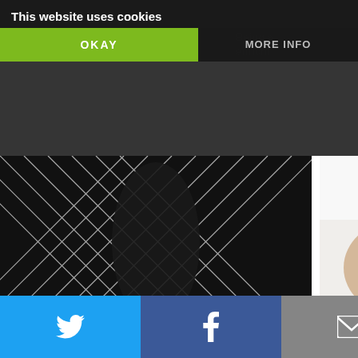[Figure (screenshot): Cookie consent banner overlay with dark background showing 'This website uses cookies' text, green OKAY button, and MORE INFO button]
This website uses cookies
OKAY
MORE INFO
[Figure (photo): EMS Foot Massager product image showing black diamond-pattern fabric]
EMS Foot Massager
[Figure (photo): Being a reluctant e - baby sleeping with yellow toy]
Being a reluctant e
[Figure (photo): Assiduous synchrony of markets - tote bag with text Every Life Should Have Nine C and red heart]
Assiduous synchrony of markets
[Figure (photo): Women's Pleated M - grey pleated fabric]
Women's Pleated M
Subt
[Figure (screenshot): Social media sharing bar with Twitter, Facebook, Email, WhatsApp, and SMS buttons]